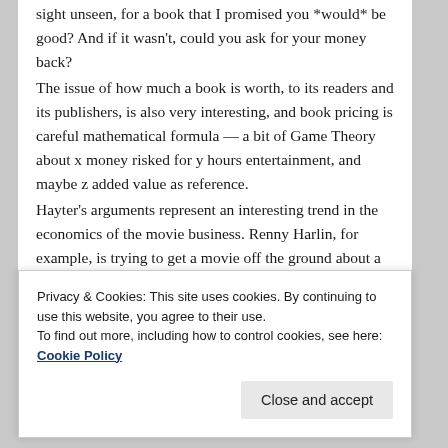sight unseen, for a book that I promised you *would* be good? And if it wasn't, could you ask for your money back?
The issue of how much a book is worth, to its readers and its publishers, is also very interesting, and book pricing is careful mathematical formula — a bit of Game Theory about x money risked for y hours entertainment, and maybe z added value as reference.
Hayter's arguments represent an interesting trend in the economics of the movie business. Renny Harlin, for example, is trying to get a movie off the ground about a famous Finnish man called Carl
Privacy & Cookies: This site uses cookies. By continuing to use this website, you agree to their use.
To find out more, including how to control cookies, see here: Cookie Policy
Close and accept